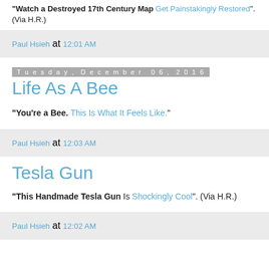"Watch a Destroyed 17th Century Map Get Painstakingly Restored". (Via H.R.)
Paul Hsieh at 12:01 AM
Tuesday, December 06, 2016
Life As A Bee
"You're a Bee. This Is What It Feels Like."
Paul Hsieh at 12:03 AM
Tesla Gun
"This Handmade Tesla Gun Is Shockingly Cool". (Via H.R.)
Paul Hsieh at 12:02 AM